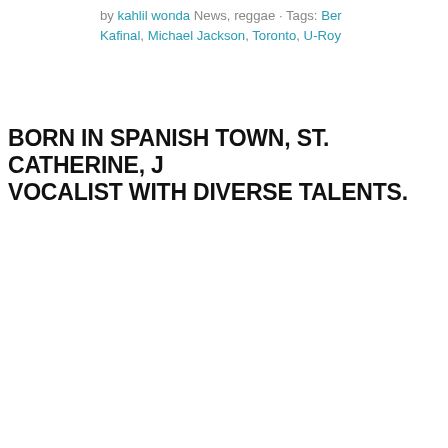by kahlil wonda News, reggae · Tags: Ber Kafinal, Michael Jackson, Toronto, U-Roy
BORN IN SPANISH TOWN, ST. CATHERINE, J VOCALIST WITH DIVERSE TALENTS.
[Figure (photo): Black and white promotional photo with white cursive text 'Nah' visible in upper portion and a bald Black man's head visible in lower portion, against a black background with white border]